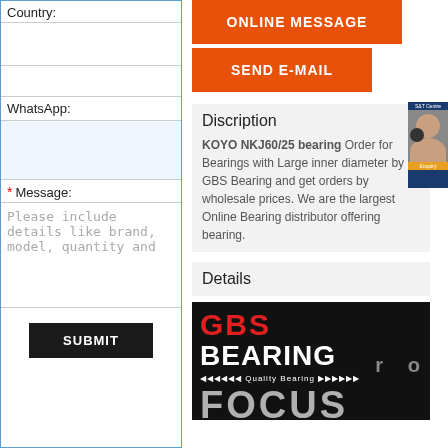Country:
WhatsApp:
* Message:
Please include details like brand, model, quantity and
SUBMIT
ONLINE MESSAGE
SEND E-MAIL
Discription
KOYO NKJ60/25 bearing Order for Bearings with Large inner diameter by GBS Bearing and get orders by wholesale prices. We are the largest Online Bearing distributor offering bearing.
Details
[Figure (logo): GBS Bearing logo with red GBS text, white BEARING text, Quality Bearing tagline, and FOCUS text partially visible at bottom]